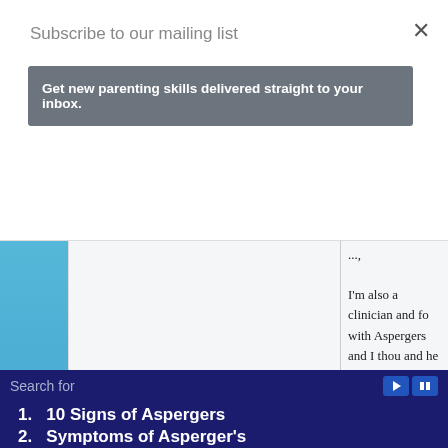Subscribe to our mailing list
Get new parenting skills delivered straight to your inbox.
...,

I'm also a clinician and fo with Aspergers and I thou and he would not go to co audio instruction really t $19.00 I ever spend.

Hope you are enjoying yo

Anastasia Geramanis, LC

~~~~~~~~~~~~~~~~~~~

Mark,
Search for
1.   10 Signs of Aspergers
2.   Symptoms of Asperger's